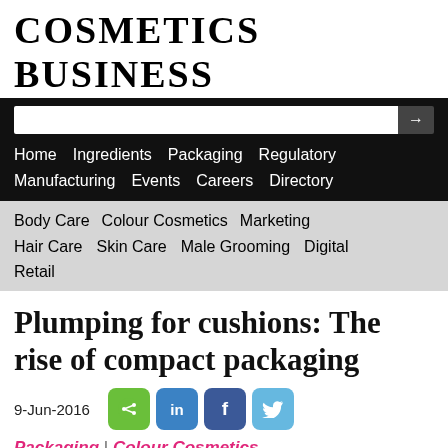COSMETICS BUSINESS
[Figure (screenshot): Navigation bar with search input and black background, containing links: Home, Ingredients, Packaging, Regulatory, Manufacturing, Events, Careers, Directory]
[Figure (screenshot): Secondary navigation bar with gray background, containing links: Body Care, Colour Cosmetics, Marketing, Hair Care, Skin Care, Male Grooming, Digital, Retail]
Plumping for cushions: The rise of compact packaging
9-Jun-2016
[Figure (screenshot): Social share buttons: green share, blue LinkedIn, blue Facebook, light blue Twitter]
Packaging | Colour Cosmetics